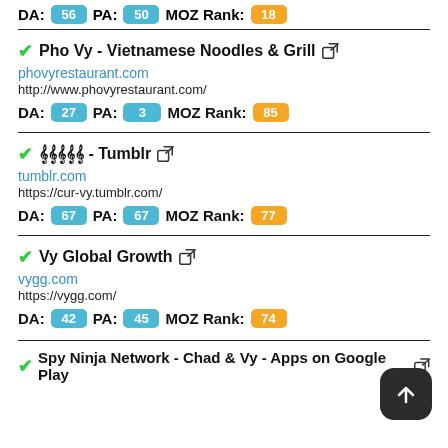DA: 56  PA: 50  MOZ Rank: 18
Pho Vy - Vietnamese Noodles & Grill | phovyrestaurant.com | http://www.phovyrestaurant.com/ | DA: 27  PA: 3  MOZ Rank: 85
ꨊꨊꨊꨊꨊ - Tumblr | tumblr.com | https://cur-vy.tumblr.com/ | DA: 67  PA: 67  MOZ Rank: 77
Vy Global Growth | vygg.com | https://vygg.com/ | DA: 42  PA: 45  MOZ Rank: 74
Spy Ninja Network - Chad & Vy - Apps on Google Play